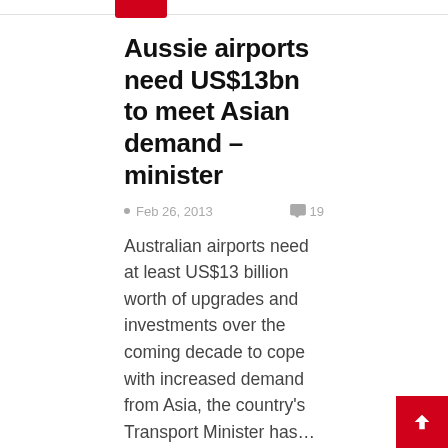Aussie airports need US$13bn to meet Asian demand – minister
Feb 26, 2013   19
Australian airports need at least US$13 billion worth of upgrades and investments over the coming decade to cope with increased demand from Asia, the country's Transport Minister has…
[Figure (other): Gray placeholder box for an image or advertisement]